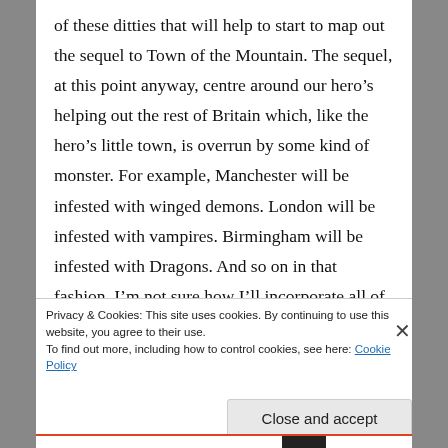of these ditties that will help to start to map out the sequel to Town of the Mountain. The sequel, at this point anyway, centre around our hero's helping out the rest of Britain which, like the hero's little town, is overrun by some kind of monster. For example, Manchester will be infested with winged demons. London will be infested with vampires. Birmingham will be infested with Dragons. And so on in that fashion. I'm not sure how I'll incorporate all of this into one story but I do like a challenge.
Privacy & Cookies: This site uses cookies. By continuing to use this website, you agree to their use.
To find out more, including how to control cookies, see here: Cookie Policy
Close and accept